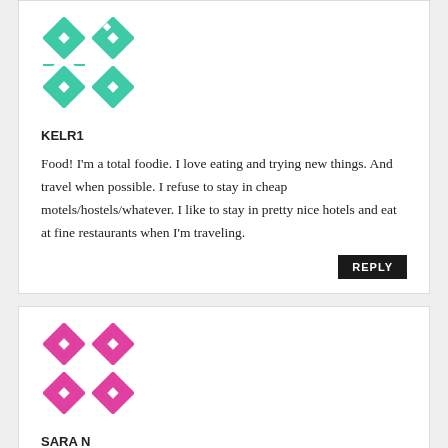[Figure (illustration): Teal/green geometric mosaic avatar for user KELR1]
KELR1
Food! I'm a total foodie. I love eating and trying new things. And travel when possible. I refuse to stay in cheap motels/hostels/whatever. I like to stay in pretty nice hotels and eat at fine restaurants when I'm traveling.
[Figure (illustration): Pink/magenta geometric mosaic avatar for user SARA N]
SARA N
I splurge on farm-fresh dairy and meats delivered to my door. Expensive mattress was also worth every penny. Skimp on books (library instead), CD's (use pandora), travel (have already traveled extensively), cell phone (no data